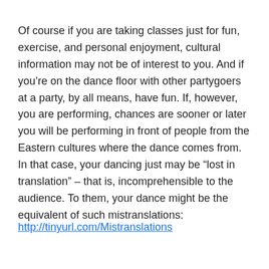Of course if you are taking classes just for fun, exercise, and personal enjoyment, cultural information may not be of interest to you. And if you’re on the dance floor with other partygoers at a party, by all means, have fun. If, however, you are performing, chances are sooner or later you will be performing in front of people from the Eastern cultures where the dance comes from. In that case, your dancing just may be “lost in translation” – that is, incomprehensible to the audience. To them, your dance might be the equivalent of such mistranslations:
http://tinyurl.com/Mistranslations